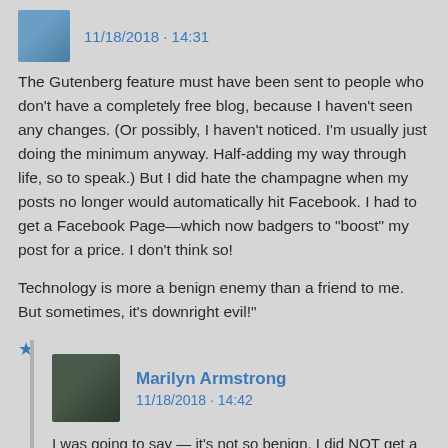11/18/2018 • 14:31
The Gutenberg feature must have been sent to people who don't have a completely free blog, because I haven't seen any changes. (Or possibly, I haven't noticed. I'm usually just doing the minimum anyway. Half-adding my way through life, so to speak.) But I did hate the champagne when my posts no longer would automatically hit Facebook. I had to get a Facebook Page—which now badgers to "boost" my post for a price. I don't think so!
Technology is more a benign enemy than a friend to me. But sometimes, it's downright evil!"
★ Like
Marilyn Armstrong
11/18/2018 • 14:42
I was going to say — it's not so benign. I did NOT get a FB page. I just do it manually. I don't want a page — or the badgering. Also, they don't "give" it to you. You